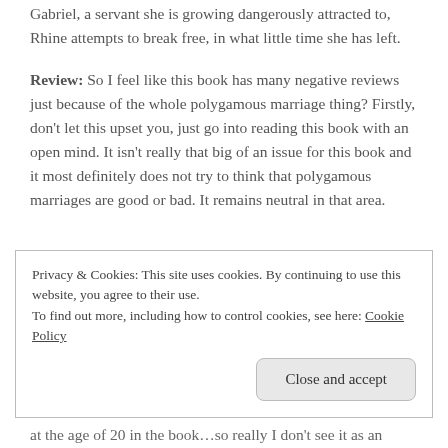Gabriel, a servant she is growing dangerously attracted to, Rhine attempts to break free, in what little time she has left.
Review: So I feel like this book has many negative reviews just because of the whole polygamous marriage thing? Firstly, don't let this upset you, just go into reading this book with an open mind. It isn't really that big of an issue for this book and it most definitely does not try to think that polygamous marriages are good or bad. It remains neutral in that area.
Privacy & Cookies: This site uses cookies. By continuing to use this website, you agree to their use. To find out more, including how to control cookies, see here: Cookie Policy